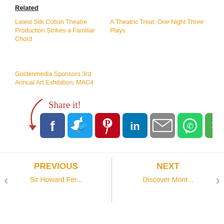Related
Latest Silk Cotton Theatre Production Strikes a Familiar Chord
A Theatric Treat: One Night Three Plays
Goldenmedia Sponsors 3rd Annual Art Exhibition, MAC4
[Figure (infographic): Share it! social sharing buttons: Facebook (blue), Twitter (light blue), Pinterest (red), LinkedIn (dark blue), Email (grey), WhatsApp (green), Share (green)]
PREVIOUS
Sir Howard Fer...
NEXT
Discover Mont...